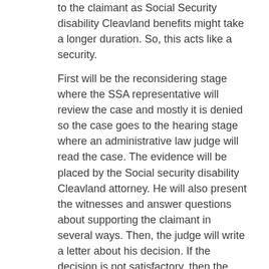to the claimant as Social Security disability Cleavland benefits might take a longer duration. So, this acts like a security.
First will be the reconsidering stage where the SSA representative will review the case and mostly it is denied so the case goes to the hearing stage where an administrative law judge will read the case. The evidence will be placed by the Social security disability Cleavland attorney. He will also present the witnesses and answer questions about supporting the claimant in several ways. Then, the judge will write a letter about his decision. If the decision is not satisfactory, then the case will be presented in Social security disability Cleavland appeals council. The council can do many things here. The council can hear the case and give his decision or deny the appeal. The council can also send the case to administrative law judge once again. If still the results of the cases are not satisfactory then the case will go to federal district court.